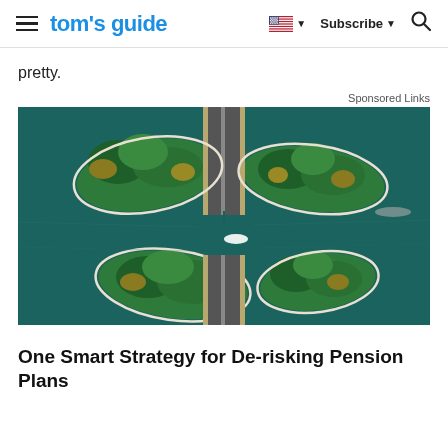tom's guide | Subscribe
pretty.
Sponsored Links
[Figure (photo): Aerial view of a highway bridge crossing a lake or river, with tree-covered land masses on both sides shaped like leaves or boats. A small white boat is visible on the water below the bridge.]
One Smart Strategy for De-risking Pension Plans